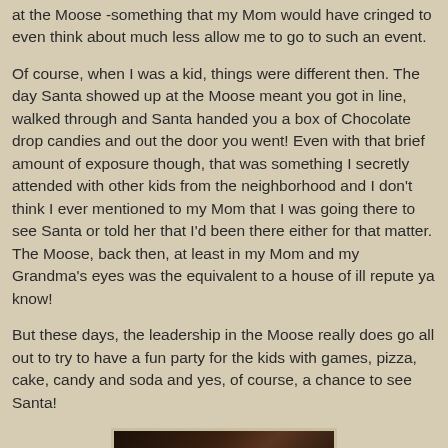at the Moose -something that my Mom would have cringed to even think about much less allow me to go to such an event.
Of course, when I was a kid, things were different then. The day Santa showed up at the Moose meant you got in line, walked through and Santa handed you a box of Chocolate drop candies and out the door you went! Even with that brief amount of exposure though, that was something I secretly attended with other kids from the neighborhood and I don't think I ever mentioned to my Mom that I was going there to see Santa or told her that I'd been there either for that matter. The Moose, back then, at least in my Mom and my Grandma's eyes was the equivalent to a house of ill repute ya know!
But these days, the leadership in the Moose really does go all out to try to have a fun party for the kids with games, pizza, cake, candy and soda and yes, of course, a chance to see Santa!
[Figure (photo): Dark photograph, partially visible at bottom of page, appears to show an indoor scene with dark tones]